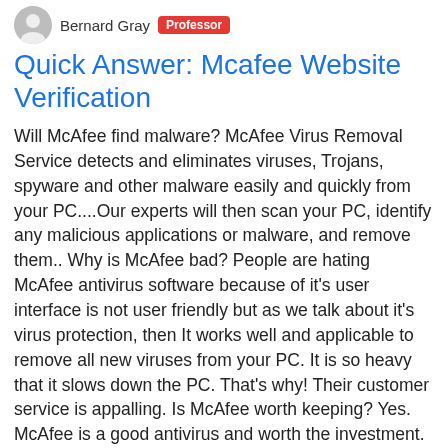Bernard Gray  Professor
Quick Answer: Mcafee Website Verification
Will McAfee find malware? McAfee Virus Removal Service detects and eliminates viruses, Trojans, spyware and other malware easily and quickly from your PC....Our experts will then scan your PC, identify any malicious applications or malware, and remove them.. Why is McAfee bad? People are hating McAfee antivirus software because of it's user interface is not user friendly but as we talk about it's virus protection, then It works well and applicable to remove all new viruses from your PC. It is so heavy that it slows down the PC. That's why! Their customer service is appalling. Is McAfee worth keeping? Yes. McAfee is a good antivirus and worth the investment. It offers an extensive security suite that will